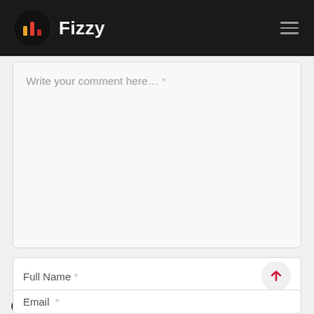[Figure (logo): Fizzy logo: black circle with colored bar chart icon in yellow, orange, red; white bold text 'Fizzy' to the right; hamburger menu icon on the right]
Write your comment here...  *
Full Name *
Email  *